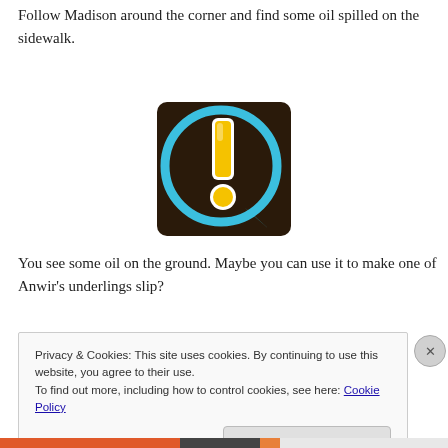Follow Madison around the corner and find some oil spilled on the sidewalk.
[Figure (illustration): A speech bubble icon with a blue circular border and a yellow exclamation mark on a dark background — a game quest indicator icon.]
You see some oil on the ground. Maybe you can use it to make one of Anwir's underlings slip?
Privacy & Cookies: This site uses cookies. By continuing to use this website, you agree to their use.
To find out more, including how to control cookies, see here: Cookie Policy
Close and accept